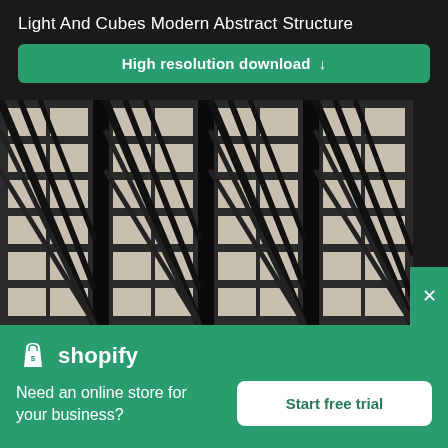Light And Cubes Modern Abstract Structure
High resolution download ↓
[Figure (photo): Close-up photograph of a modern building facade with repeating geometric patterns of diagonal metal beams and rectangular windows, creating a strong abstract architectural pattern in dark tones.]
[Figure (logo): Shopify logo with shopping bag icon and text 'shopify' in white on green background]
Need an online store for your business?
Start free trial